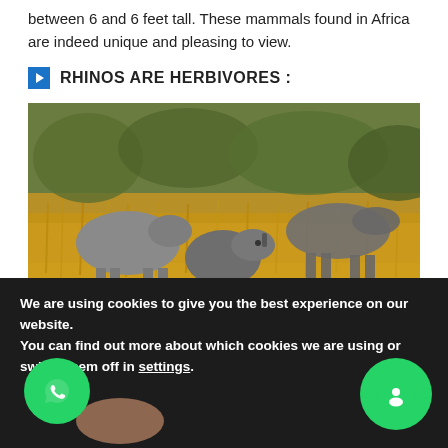between 6 and 6 feet tall. These mammals found in Africa are indeed unique and pleasing to view.
RHINOS ARE HERBIVORES :
[Figure (photo): Three rhinoceroses in a grassy African savanna setting — two large adults and one smaller juvenile standing in tall golden grass with trees in background.]
By looking at the rhinos and their massive sizes, one might suggest that they are typical big meat eaters. Surprisingly,
We are using cookies to give you the best experience on our website.
You can find out more about which cookies we are using or switch them off in settings.